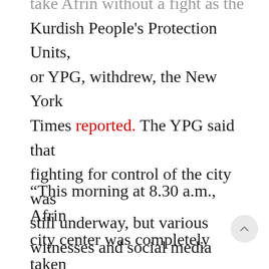take Afrin without a fight as the Kurdish People's Protection Units, or YPG, withdrew, the New York Times reported. The YPG said that fighting for control of the city was still underway, but various witnesses and social media posts indicated that the Free Syrian Army had taken over.
“This morning at 8.30 a.m., Afrin city center was completely taken under control by F.S.A. members, who are supported by our Turkish